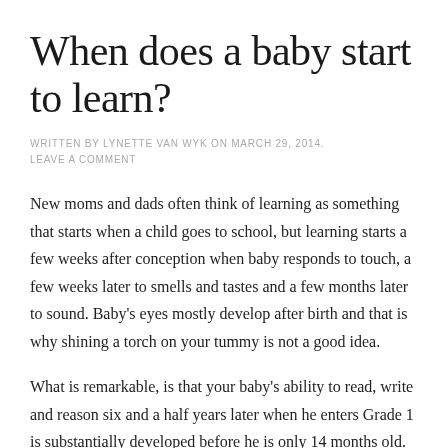When does a baby start to learn?
WRITTEN BY LYNETTE VAN WYK ON MARCH 29, 2014. LEAVE A COMMENT
New moms and dads often think of learning as something that starts when a child goes to school, but learning starts a few weeks after conception when baby responds to touch, a few weeks later to smells and tastes and a few months later to sound. Baby's eyes mostly develop after birth and that is why shining a torch on your tummy is not a good idea.
What is remarkable, is that your baby's ability to read, write and reason six and a half years later when he enters Grade 1 is substantially developed before he is only 14 months old.